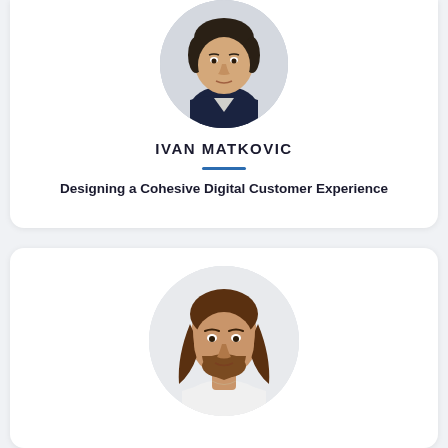[Figure (photo): Circular portrait photo of Ivan Matkovic, a man wearing a dark navy V-neck sweater]
IVAN MATKOVIC
Designing a Cohesive Digital Customer Experience
[Figure (photo): Circular portrait photo of a man with medium-length brown hair and beard, wearing a white shirt, with a necklace]